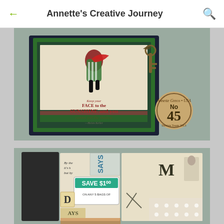Annette's Creative Journey
[Figure (photo): A handmade decorative journal/book cover with scrapbooking elements. The cover features vintage-style paper with green border, an image of a woman in a green striped dress dancing, a decorative metal key charm, and the text 'Keep your FACE to the SUNSHINE and you cannot feel the shadow - Helen Keller'. A wooden round badge reads 'No 45 Annette Greco USA Design Team 2013'.]
[Figure (photo): Interior pages of a handmade scrapbook/junk journal showing vintage collage elements including a 'SAVE $1.00 on any 5 bags of' coupon, letter tiles spelling 'D', 'M', vintage sewing imagery, text snippets, plaid patterned paper, and mixed media ephemera.]